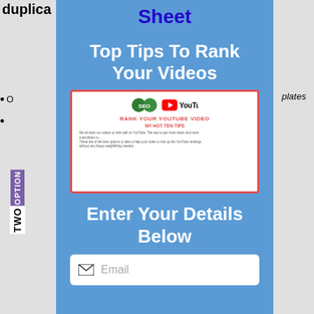duplica...
O...   plates
Sheet
Top Tips To Rank Your Videos
[Figure (screenshot): Thumbnail of a YouTube ranking cheat sheet document with logos, red title 'RANK YOUR YOUTUBE VIDEO', subtitle 'MY HOT TEN TIPS', and body text]
Enter Your Details Below
Email